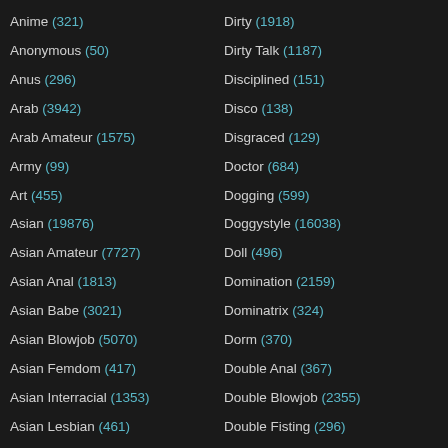Anime (321)
Anonymous (50)
Anus (296)
Arab (3942)
Arab Amateur (1575)
Army (99)
Art (455)
Asian (19876)
Asian Amateur (7727)
Asian Anal (1813)
Asian Babe (3021)
Asian Blowjob (5070)
Asian Femdom (417)
Asian Interracial (1353)
Asian Lesbian (461)
Dirty (1918)
Dirty Talk (1187)
Disciplined (151)
Disco (138)
Disgraced (129)
Doctor (684)
Dogging (599)
Doggystyle (16038)
Doll (496)
Domination (2159)
Dominatrix (324)
Dorm (370)
Double Anal (367)
Double Blowjob (2355)
Double Fisting (296)